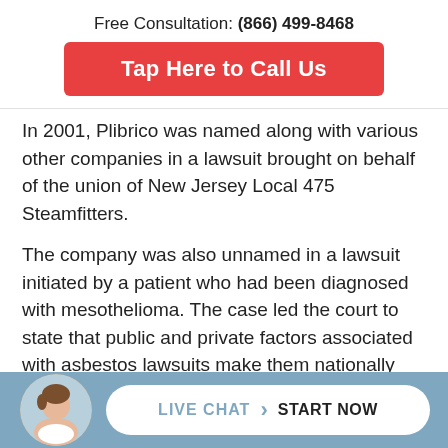Free Consultation: (866) 499-8468
Tap Here to Call Us
In 2001, Plibrico was named along with various other companies in a lawsuit brought on behalf of the union of New Jersey Local 475 Steamfitters.
The company was also unnamed in a lawsuit initiated by a patient who had been diagnosed with mesothelioma. The case led the court to state that public and private factors associated with asbestos lawsuits make them nationally important.
LIVE CHAT  START NOW